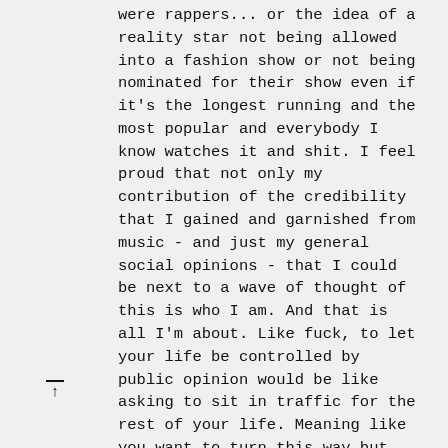were rappers... or the idea of a reality star not being allowed into a fashion show or not being nominated for their show even if it's the longest running and the most popular and everybody I know watches it and shit. I feel proud that not only my contribution of the credibility that I gained and garnished from music - and just my general social opinions - that I could be next to a wave of thought of this is who I am. And that is all I'm about. Like fuck, to let your life be controlled by public opinion would be like asking to sit in traffic for the rest of your life. Meaning like you want to turn this way but there's a car right here, you want to turn that way but there's a car right there, you want to go a bit faster but there's a car right in front of you, you want to just stop, cars start honking at you. That's public opinion and Bruce just got off the exit sign and drove as fast as he wanted to. Oh sorry, it's disrespectful to use that